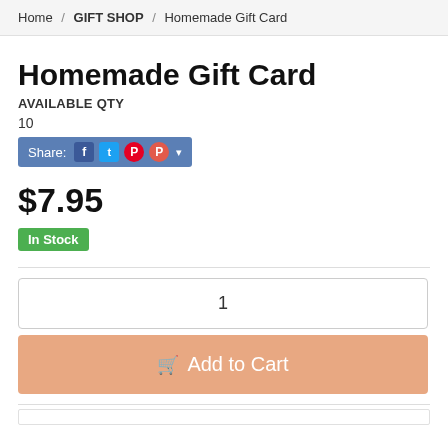Home / GIFT SHOP / Homemade Gift Card
Homemade Gift Card
AVAILABLE QTY
10
Share: [social icons]
$7.95
In Stock
1
Add to Cart